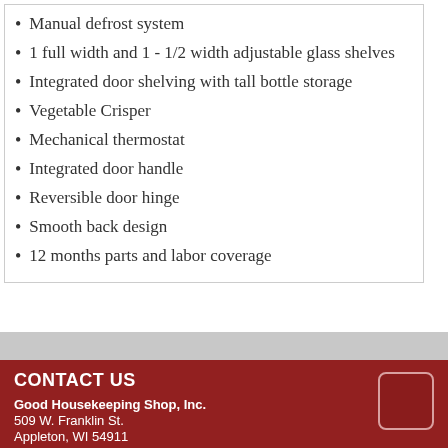Manual defrost system
1 full width and 1 - 1/2 width adjustable glass shelves
Integrated door shelving with tall bottle storage
Vegetable Crisper
Mechanical thermostat
Integrated door handle
Reversible door hinge
Smooth back design
12 months parts and labor coverage
CONTACT US
Good Housekeeping Shop, Inc.
509 W. Franklin St.
Appleton, WI 54911